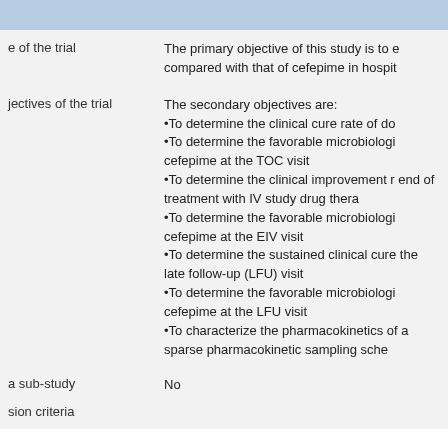|  |  |
| --- | --- |
|  |  |
| e of the trial | The primary objective of this study is to e compared with that of cefepime in hospit |
| jectives of the trial | The secondary objectives are:
•To determine the clinical cure rate of do
•To determine the favorable microbiologi cefepime at the TOC visit
•To determine the clinical improvement r end of treatment with IV study drug thera
•To determine the favorable microbiologi cefepime at the EIV visit
•To determine the sustained clinical cure the late follow-up (LFU) visit
•To determine the favorable microbiologi cefepime at the LFU visit
•To characterize the pharmacokinetics of a sparse pharmacokinetic sampling sche |
| a sub-study | No |
| sion criteria |  |